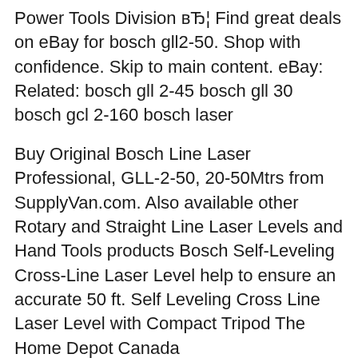Power Tools Division вЂ¦ Find great deals on eBay for bosch gll2-50. Shop with confidence. Skip to main content. eBay: Related: bosch gll 2-45 bosch gll 30 bosch gcl 2-160 bosch laser
Buy Original Bosch Line Laser Professional, GLL-2-50, 20-50Mtrs from SupplyVan.com. Also available other Rotary and Straight Line Laser Levels and Hand Tools products Bosch Self-Leveling Cross-Line Laser Level help to ensure an accurate 50 ft. Self Leveling Cross Line Laser Level with Compact Tripod The Home Depot Canada
GLL 2-50 Professional ,